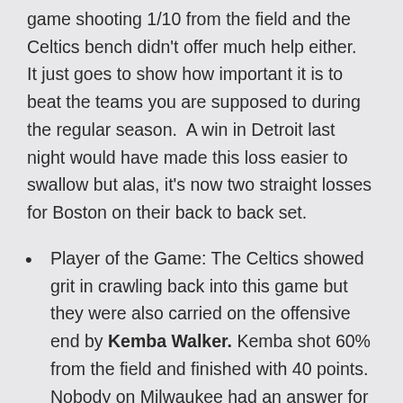game shooting 1/10 from the field and the Celtics bench didn't offer much help either.  It just goes to show how important it is to beat the teams you are supposed to during the regular season.  A win in Detroit last night would have made this loss easier to swallow but alas, it's now two straight losses for Boston on their back to back set.
Player of the Game: The Celtics showed grit in crawling back into this game but they were also carried on the offensive end by Kemba Walker. Kemba shot 60% from the field and finished with 40 points.  Nobody on Milwaukee had an answer for him as he slithered all over the floor getting layups,